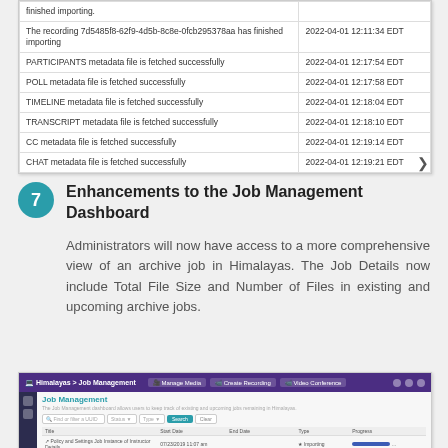| Message | Timestamp |
| --- | --- |
| finished importing. |  |
| The recording 7d5485f8-62f9-4d5b-8c8e-0fcb295378aa has finished importing | 2022-04-01 12:11:34 EDT |
| PARTICIPANTS metadata file is fetched successfully | 2022-04-01 12:17:54 EDT |
| POLL metadata file is fetched successfully | 2022-04-01 12:17:58 EDT |
| TIMELINE metadata file is fetched successfully | 2022-04-01 12:18:04 EDT |
| TRANSCRIPT metadata file is fetched successfully | 2022-04-01 12:18:10 EDT |
| CC metadata file is fetched successfully | 2022-04-01 12:19:14 EDT |
| CHAT metadata file is fetched successfully | 2022-04-01 12:19:21 EDT |
7  Enhancements to the Job Management Dashboard
Administrators will now have access to a more comprehensive view of an archive job in Himalayas. The Job Details now include Total File Size and Number of Files in existing and upcoming archive jobs.
[Figure (screenshot): Screenshot of the Himalayas Job Management dashboard showing a table with columns: Title, Start Date, End Date, Type, Progress. Two job rows are visible with progress bars.]